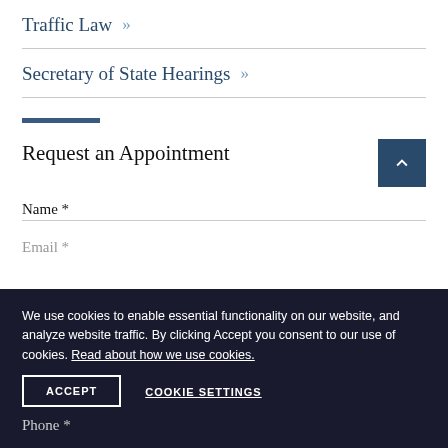Traffic Law »
Secretary of State Hearings »
Request an Appointment
Name *
Email *
We use cookies to enable essential functionality on our website, and analyze website traffic. By clicking Accept you consent to our use of cookies. Read about how we use cookies.
ACCEPT
COOKIE SETTINGS
Phone *